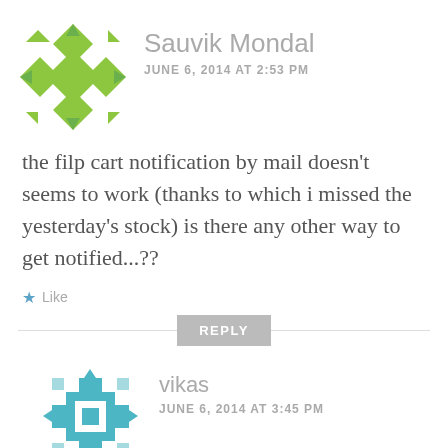[Figure (illustration): Green geometric/mosaic avatar icon for user Sauvik Mondal]
Sauvik Mondal
JUNE 6, 2014 AT 2:53 PM
the filp cart notification by mail doesn't seems to work (thanks to which i missed the yesterday's stock) is there any other way to get notified...??
★ Like
REPLY
[Figure (illustration): Teal/cyan geometric/mosaic avatar icon for user vikas]
vikas
JUNE 6, 2014 AT 3:45 PM
guys can anyone tell when the